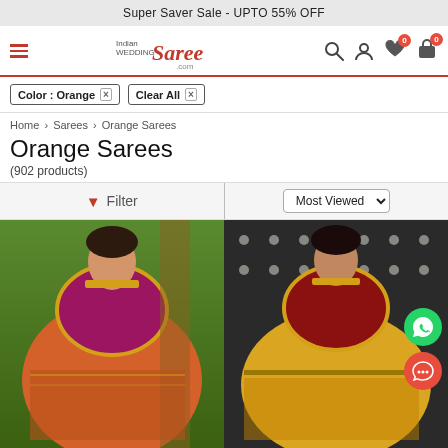Super Saver Sale - UPTO 55% OFF
[Figure (logo): Indian Wedding Saree .com logo with hamburger menu, search, user, heart (0), and cart (0) icons]
Color : Orange × Clear All ×
Home › Sarees › Orange Sarees
Orange Sarees
(902 products)
Filter | Most Viewed
[Figure (photo): Woman wearing an orange and magenta embroidered saree with gold jewelry, standing outdoors near a tree]
[Figure (photo): Woman wearing a golden orange saree with red blouse and gold jewelry, standing against a decorative backdrop. WhatsApp and chat floating buttons visible.]